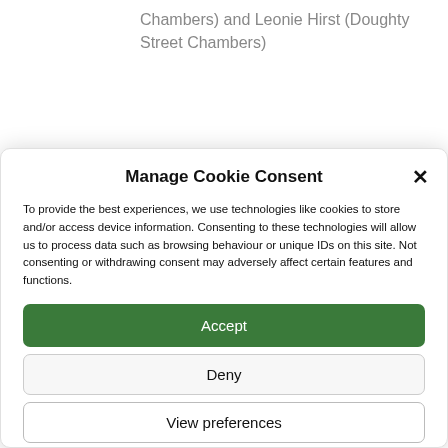Chambers) and Leonie Hirst (Doughty Street Chambers)
Manage Cookie Consent
To provide the best experiences, we use technologies like cookies to store and/or access device information. Consenting to these technologies will allow us to process data such as browsing behaviour or unique IDs on this site. Not consenting or withdrawing consent may adversely affect certain features and functions.
Accept
Deny
View preferences
Cookies   Privacy